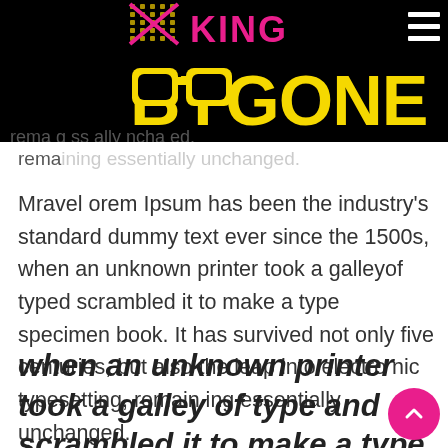[Figure (logo): King Bygone website header banner with black background, yellow BYGONE text, pink KING text, binoculars icon, dot pattern, and white hamburger menu icon]
remaining essentially unchanged.
Mravel orem Ipsum has been the industry's standard dummy text ever since the 1500s, when an unknown printer took a galleyof typed scrambled it to make a type specimen book. It has survived not only five centuries, but also the leap into electro nic typesetting, remain ing essentially unchanged.
when an unknown printer took a galley of type and scrambled it to make a type area specimen book